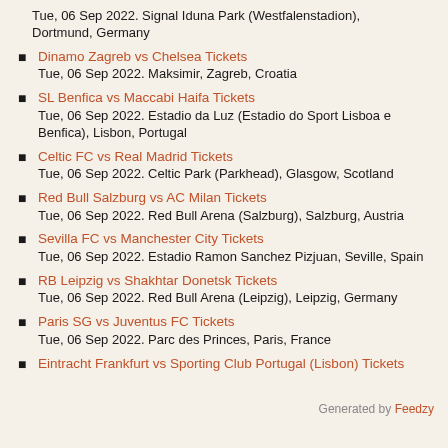Tue, 06 Sep 2022. Signal Iduna Park (Westfalenstadion), Dortmund, Germany
Dinamo Zagreb vs Chelsea Tickets
Tue, 06 Sep 2022. Maksimir, Zagreb, Croatia
SL Benfica vs Maccabi Haifa Tickets
Tue, 06 Sep 2022. Estadio da Luz (Estadio do Sport Lisboa e Benfica), Lisbon, Portugal
Celtic FC vs Real Madrid Tickets
Tue, 06 Sep 2022. Celtic Park (Parkhead), Glasgow, Scotland
Red Bull Salzburg vs AC Milan Tickets
Tue, 06 Sep 2022. Red Bull Arena (Salzburg), Salzburg, Austria
Sevilla FC vs Manchester City Tickets
Tue, 06 Sep 2022. Estadio Ramon Sanchez Pizjuan, Seville, Spain
RB Leipzig vs Shakhtar Donetsk Tickets
Tue, 06 Sep 2022. Red Bull Arena (Leipzig), Leipzig, Germany
Paris SG vs Juventus FC Tickets
Tue, 06 Sep 2022. Parc des Princes, Paris, France
Eintracht Frankfurt vs Sporting Club Portugal (Lisbon) Tickets
Generated by Feedzy